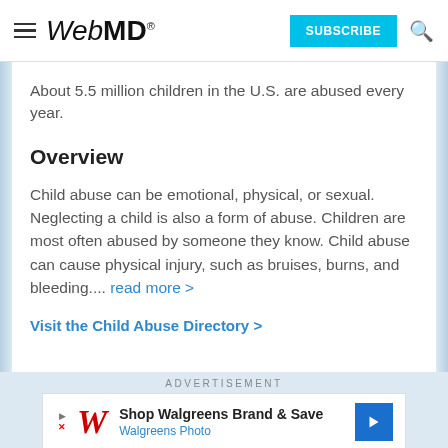WebMD
About 5.5 million children in the U.S. are abused every year.
Overview
Child abuse can be emotional, physical, or sexual. Neglecting a child is also a form of abuse. Children are most often abused by someone they know. Child abuse can cause physical injury, such as bruises, burns, and bleeding.... read more >
Visit the Child Abuse Directory >
[Figure (other): Walgreens advertisement banner: 'Shop Walgreens Brand & Save - Walgreens Photo' with Walgreens cursive W logo and blue arrow icon]